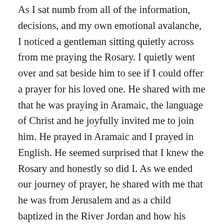As I sat numb from all of the information, decisions, and my own emotional avalanche, I noticed a gentleman sitting quietly across from me praying the Rosary. I quietly went over and sat beside him to see if I could offer a prayer for his loved one. He shared with me that he was praying in Aramaic, the language of Christ and he joyfully invited me to join him. He prayed in Aramaic and I prayed in English. He seemed surprised that I knew the Rosary and honestly so did I. As we ended our journey of prayer, he shared with me that he was from Jerusalem and as a child baptized in the River Jordan and how his faith is what keeps him grounded. For the the first time in hours I breathed a little easier because here I was offering to support him and the blessing of his presence was more of a blessing to me. I knew the family gathered on the other side of the room was still stunned from the announcement that I am her wife, were even more freaked out that I